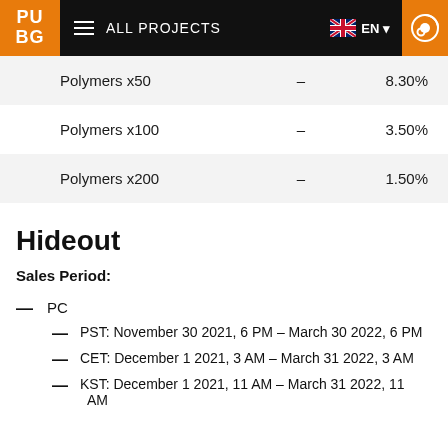PUBG — ALL PROJECTS — EN
| Item |  | Chance |
| --- | --- | --- |
| Polymers x50 | – | 8.30% |
| Polymers x100 | – | 3.50% |
| Polymers x200 | – | 1.50% |
Hideout
Sales Period:
PC
PST: November 30 2021, 6 PM – March 30 2022, 6 PM
CET: December 1 2021, 3 AM – March 31 2022, 3 AM
KST: December 1 2021, 11 AM – March 31 2022, 11 AM